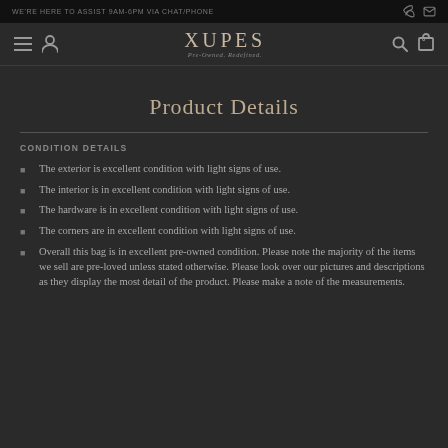WE'RE HERE TO ASSIST 9AM-6PM VIA CHAT/PHONE
XUPES — Pre-Owned. Redefined.
Product Details
CONDITION DETAILS
The exterior is excellent condition with light signs of use.
The interior is in excellent condition with light signs of use.
The hardware is in excellent condition with light signs of use.
The corners are in excellent condition with light signs of use.
Overall this bag is in excellent pre-owned condition. Please note the majority of the items we sell are pre-loved unless stated otherwise. Please look over our pictures and descriptions as they display the most detail of the product. Please make a note of the measurements.